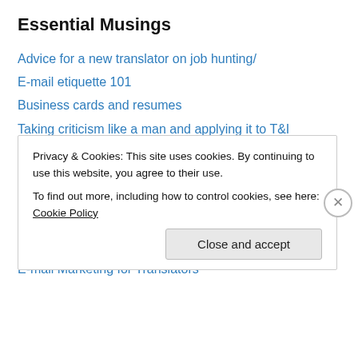Essential Musings
Advice for a new translator on job hunting/
E-mail etiquette 101
Business cards and resumes
Taking criticism like a man and applying it to T&I
Organization is key – part 1
Organization is key – part 2
Spreading the love
Can you certify my translation?
I Don't Need No Stinkin' Job Tracking System
E-mail Marketing for Translators
Privacy & Cookies: This site uses cookies. By continuing to use this website, you agree to their use. To find out more, including how to control cookies, see here: Cookie Policy
Close and accept